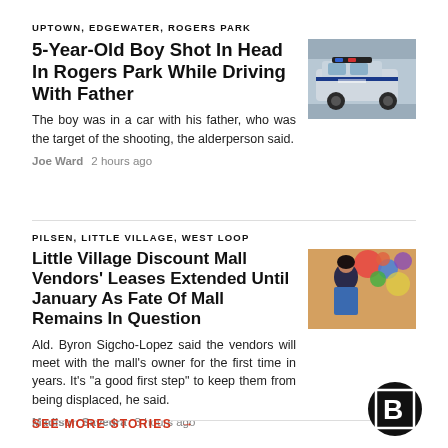UPTOWN, EDGEWATER, ROGERS PARK
5-Year-Old Boy Shot In Head In Rogers Park While Driving With Father
[Figure (photo): Police car photo]
The boy was in a car with his father, who was the target of the shooting, the alderperson said.
Joe Ward   2 hours ago
PILSEN, LITTLE VILLAGE, WEST LOOP
Little Village Discount Mall Vendors' Leases Extended Until January As Fate Of Mall Remains In Question
[Figure (photo): Market vendor photo]
Ald. Byron Sigcho-Lopez said the vendors will meet with the mall's owner for the first time in years. It's "a good first step" to keep them from being displaced, he said.
Madison Savedra   3 hours ago
SEE MORE STORIES →
[Figure (logo): Block Club Chicago B logo]